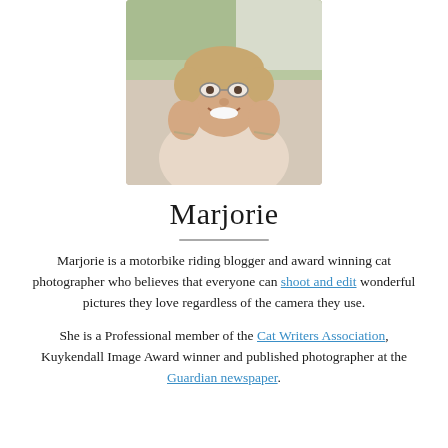[Figure (photo): Portrait photo of Marjorie, a middle-aged woman smiling with hands on cheeks, wearing glasses, outdoors.]
Marjorie
Marjorie is a motorbike riding blogger and award winning cat photographer who believes that everyone can shoot and edit wonderful pictures they love regardless of the camera they use.
She is a Professional member of the Cat Writers Association, Kuykendall Image Award winner and published photographer at the Guardian newspaper.